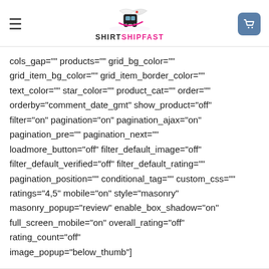SHIRTSHIPFAST
cols_gap="" products="" grid_bg_color="" grid_item_bg_color="" grid_item_border_color="" text_color="" star_color="" product_cat="" order="" orderby="comment_date_gmt" show_product="off" filter="on" pagination="on" pagination_ajax="on" pagination_pre="" pagination_next="" loadmore_button="off" filter_default_image="off" filter_default_verified="off" filter_default_rating="" pagination_position="" conditional_tag="" custom_css="" ratings="4,5" mobile="on" style="masonry" masonry_popup="review" enable_box_shadow="on" full_screen_mobile="on" overall_rating="off" rating_count="off" only_images="off" image_popup="below_thumb"]